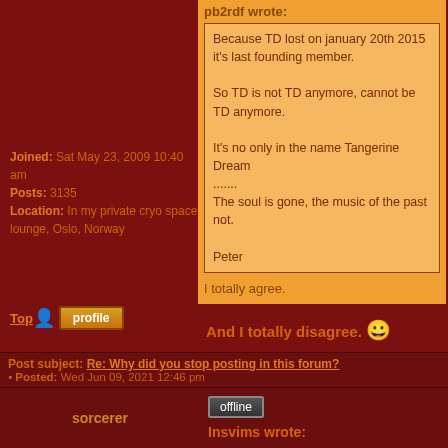Joined: Sat May 23, 2009 10:40 am
Posts: 3135
Location: In my private cryo space lounge, Oslo, Norway
pb2rdf wrote:
Because TD lost on january 20th 2015 it's last founding member.

So TD is not TD anymore, cannot be TD anymore.

It's no only in the name Tangerine Dream
.......
The soul is gone, the music of the past not.

Peter
I totally agree.
And I totally disagree. 🙂
http://www.last.fm/user/Insvims
Top
[Figure (other): Profile button with user icon]
Post subject: Re: Why did you stop posting in this forum?
Posted: Wed Jun 09, 2021 12:46 pm
sorcerer
offline
Insvims wrote: